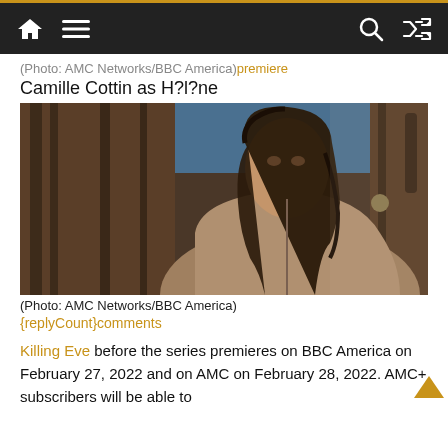Navigation bar with home, menu, search, and shuffle icons
(Photo: AMC Networks/BBC America) premiere Camille Cottin as H?l?ne
[Figure (photo): Woman with long dark hair in a beige hoodie standing in front of a wooden door, looking slightly to the side.]
(Photo: AMC Networks/BBC America)
{replyCount}comments
Killing Eve before the series premieres on BBC America on February 27, 2022 and on AMC on February 28, 2022. AMC+ subscribers will be able to